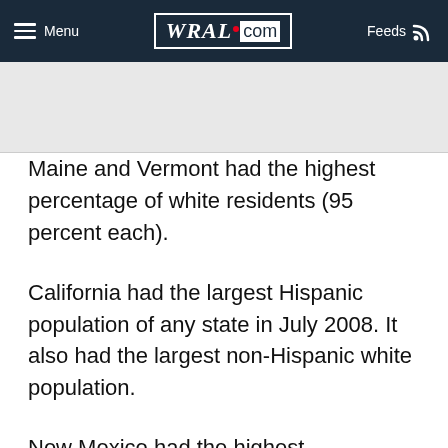Menu | WRAL.com | Feeds
Maine and Vermont had the highest percentage of white residents (95 percent each).
California had the largest Hispanic population of any state in July 2008. It also had the largest non-Hispanic white population.
New Mexico had the highest percentage of